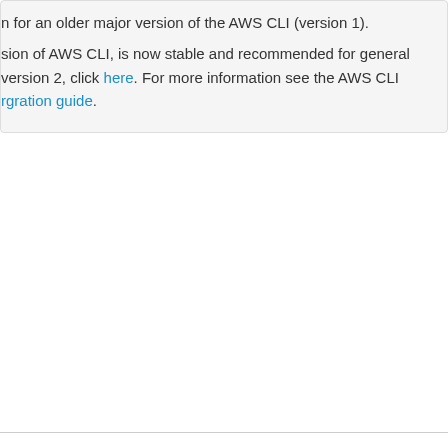on for an older major version of the AWS CLI (version 1). sion of AWS CLI, is now stable and recommended for general version 2, click here. For more information see the AWS CLI rgration guide.
Amazon Chime SDK identity resource.